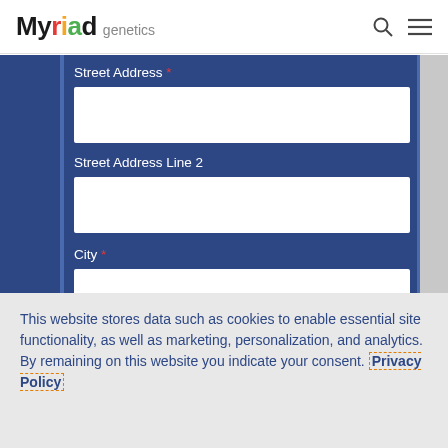Myriad genetics
Street Address *
Street Address Line 2
City *
This website stores data such as cookies to enable essential site functionality, as well as marketing, personalization, and analytics. By remaining on this website you indicate your consent. Privacy Policy